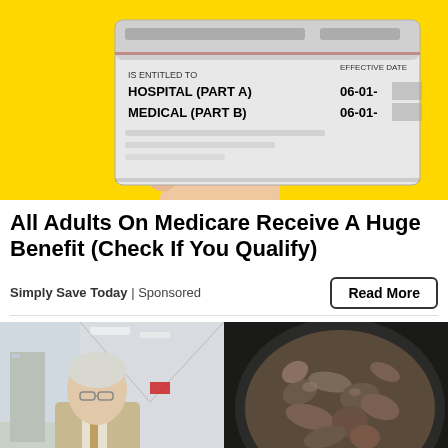[Figure (photo): Photo of a Medicare card being held by a hand against a yellow background. Card shows 'IS ENTITLED TO' section with HOSPITAL (PART A) and MEDICAL (PART B) with EFFECTIVE DATE 06-01-[redacted]]
All Adults On Medicare Receive A Huge Benefit (Check If You Qualify)
Simply Save Today | Sponsored
[Figure (photo): Split image: left side shows an elderly man in a suit and glasses pointing to the right, standing in a hospital corridor; right side shows a close-up of a skillet with ground meat cooking]